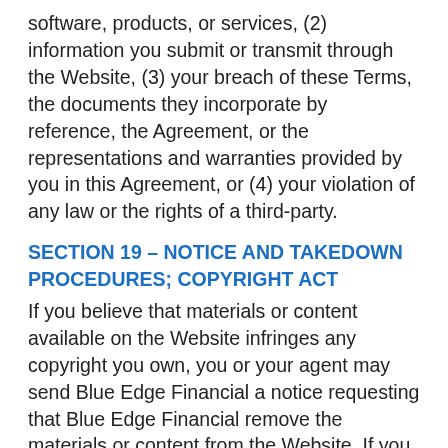software, products, or services, (2) information you submit or transmit through the Website, (3) your breach of these Terms, the documents they incorporate by reference, the Agreement, or the representations and warranties provided by you in this Agreement, or (4) your violation of any law or the rights of a third-party.
SECTION 19 – NOTICE AND TAKEDOWN PROCEDURES; COPYRIGHT ACT
If you believe that materials or content available on the Website infringes any copyright you own, you or your agent may send Blue Edge Financial a notice requesting that Blue Edge Financial remove the materials or content from the Website. If you believe that someone has wrongly filed a notice of copyright infringement against you, you may send Blue Edge Financial a counter-notice. Notices and counter-notices should be sent to